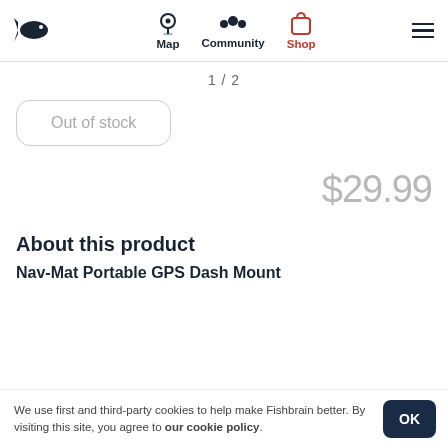Map | Community | Shop
1 / 2
Out of stock
$29.99
About this product
Nav-Mat Portable GPS Dash Mount
We use first and third-party cookies to help make Fishbrain better. By visiting this site, you agree to our cookie policy.